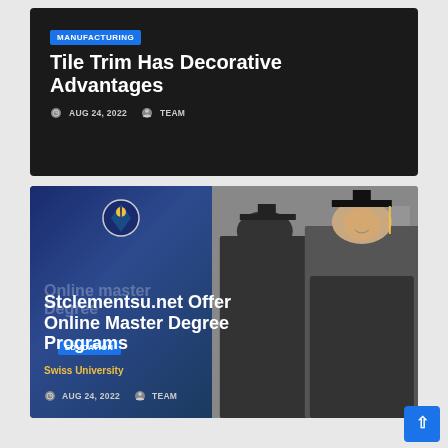[Figure (other): Dark background article card for 'Tile Trim Has Decorative Advantages' with MANUFACTURING badge, title text, and meta info showing AUG 24, 2022 and TEAM]
MANUFACTURING
Tile Trim Has Decorative Advantages
AUG 24, 2022   TEAM
[Figure (photo): Article card with photo of two graduates in caps and gowns, dark blue overlay on left side showing university emblem, EDUCATION badge, article title 'Stclementsu.net Offer Online Master Degree Programs', Swiss University text, and meta info AUG 24, 2022 and TEAM]
EDUCATION
Stclementsu.net Offer Online Master Degree Programs
Swiss University
AUG 24, 2022   TEAM